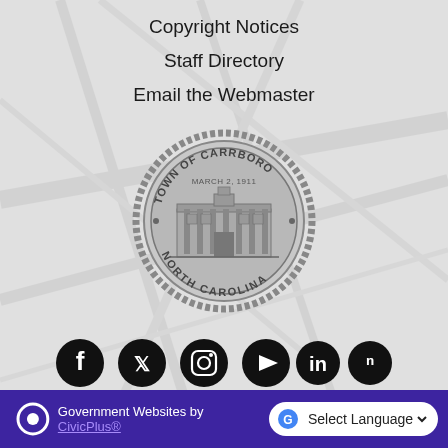Copyright Notices
Staff Directory
Email the Webmaster
[Figure (logo): Town of Carrboro, North Carolina official seal. Circular seal with rope border, text 'TOWN OF CARRBORO' at top, 'NORTH CAROLINA' at bottom, 'MARCH 2, 1911' in center top, and an image of a historic building in the center. Seal is rendered in grayscale.]
[Figure (other): Row of social media icons: Facebook, Twitter/X, Instagram, YouTube, LinkedIn, Nextdoor — all in black on light background.]
Government Websites by CivicPlus®   Select Language